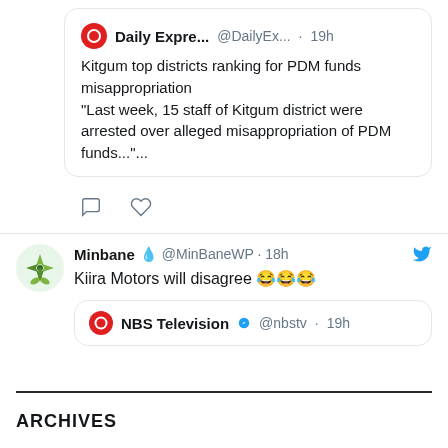[Figure (screenshot): Tweet from Daily Express account showing text about Kitgum top districts ranking for PDM funds misappropriation]
[Figure (screenshot): Tweet from Minbane (@MinBaneWP) saying 'Kiira Motors will disagree' with laughing emojis, containing a nested tweet from NBS Television]
ARCHIVES